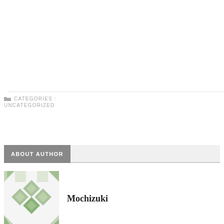CATEGORIES: UNCATEGORIZED
ABOUT AUTHOR
[Figure (logo): Decorative geometric pattern avatar with green diamond/cross shapes on light background]
Mochizuki